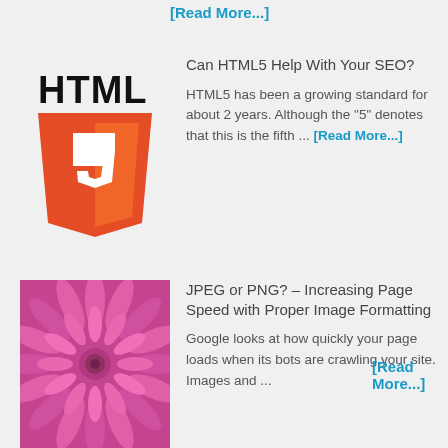[Read More...]
[Figure (logo): HTML5 logo - orange shield with white 5 and HTML text above]
Can HTML5 Help With Your SEO?
HTML5 has been a growing standard for about 2 years. Although the "5" denotes that this is the fifth ... [Read More...]
[Figure (photo): Close-up photo of a pink dahlia flower]
JPEG or PNG? – Increasing Page Speed with Proper Image Formatting
Google looks at how quickly your page loads when its bots are crawling your site. Images and ... [Read More...]